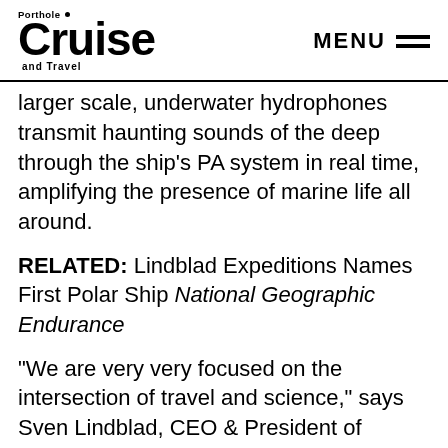Porthole Cruise and Travel — MENU
larger scale, underwater hydrophones transmit haunting sounds of the deep through the ship's PA system in real time, amplifying the presence of marine life all around.
RELATED: Lindblad Expeditions Names First Polar Ship National Geographic Endurance
“We are very very focused on the intersection of travel and science,” says Sven Lindblad, CEO & President of Lindlad Expeditions, “This will be a platform for gathering science that I believe and we all believe will be extremely valuable in increasing our knowledge of the world and